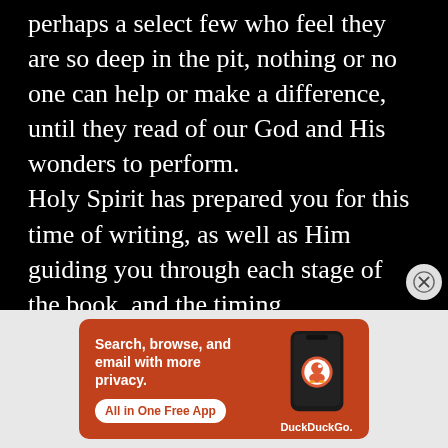perhaps a select few who feel they are so deep in the pit, nothing or no one can help or make a difference, until they read of our God and His wonders to perform.
Holy Spirit has prepared you for this time of writing, as well as Him guiding you through each stage of the book, and the timing.
And the most interesting and exciting—-Holy Spirit already knows who will read your book, and He is preparing each person's heart,
[Figure (infographic): DuckDuckGo advertisement banner with orange background. Text reads: 'Search, browse, and email with more privacy. All in One Free App' with a phone graphic showing the DuckDuckGo logo and brand name.]